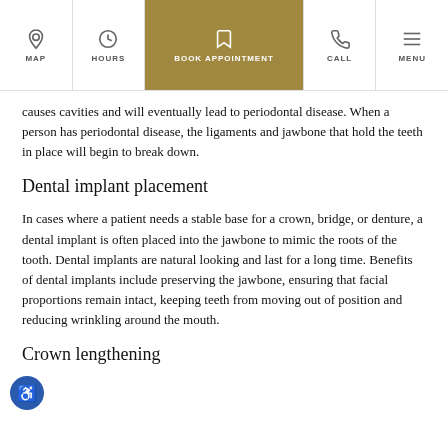MAP | HOURS | BOOK APPOINTMENT | CALL | MENU
causes cavities and will eventually lead to periodontal disease. When a person has periodontal disease, the ligaments and jawbone that hold the teeth in place will begin to break down.
Dental implant placement
In cases where a patient needs a stable base for a crown, bridge, or denture, a dental implant is often placed into the jawbone to mimic the roots of the tooth. Dental implants are natural looking and last for a long time. Benefits of dental implants include preserving the jawbone, ensuring that facial proportions remain intact, keeping teeth from moving out of position and reducing wrinkling around the mouth.
Crown lengthening